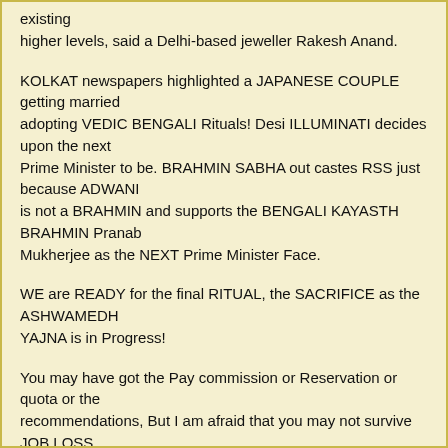existing
higher levels, said a Delhi-based jeweller Rakesh Anand.
KOLKAT newspapers highlighted a JAPANESE COUPLE getting married
adopting VEDIC BENGALI Rituals! Desi ILLUMINATI decides upon the next
Prime Minister to be. BRAHMIN SABHA out castes RSS just because ADWANI
is not a BRAHMIN and supports the BENGALI KAYASTH BRAHMIN Pranab
Mukherjee as the NEXT Prime Minister Face.
WE are READY for the final RITUAL, the SACRIFICE as the ASHWAMEDH
YAJNA is in Progress!
You may have got the Pay commission or Reservation or quota or the
recommendations, But I am afraid that you may not survive JOB LOSS,